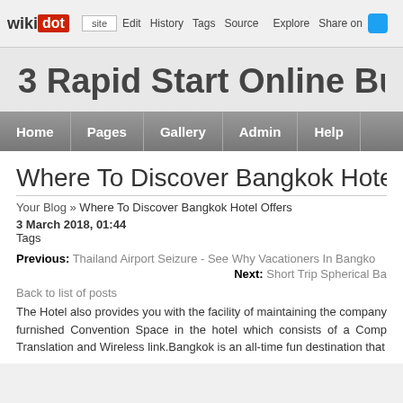wikidot | site | Edit | History | Tags | Source | Explore | Share on
3 Rapid Start Online Business Op
Where To Discover Bangkok Hotel Offers
Your Blog » Where To Discover Bangkok Hotel Offers
3 March 2018, 01:44
Tags
Previous: Thailand Airport Seizure - See Why Vacationers In Bangkok
Next: Short Trip Spherical B...
Back to list of posts
The Hotel also provides you with the facility of maintaining the company furnished Convention Space in the hotel which consists of a Comp Translation and Wireless link.Bangkok is an all-time fun destination that